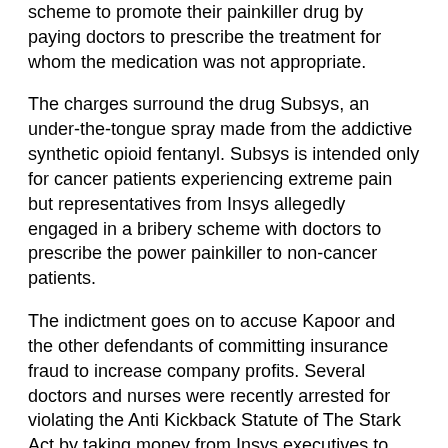scheme to promote their painkiller drug by paying doctors to prescribe the treatment for whom the medication was not appropriate.
The charges surround the drug Subsys, an under-the-tongue spray made from the addictive synthetic opioid fentanyl. Subsys is intended only for cancer patients experiencing extreme pain but representatives from Insys allegedly engaged in a bribery scheme with doctors to prescribe the power painkiller to non-cancer patients.
The indictment goes on to accuse Kapoor and the other defendants of committing insurance fraud to increase company profits. Several doctors and nurses were recently arrested for violating the Anti Kickback Statute of The Stark Act by taking money from Insys executives to dole out prescriptions of Subsys.
Drug companies blamed in